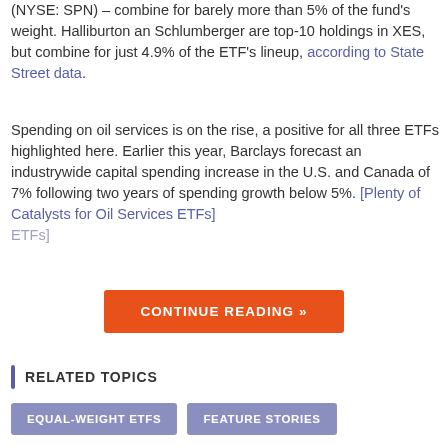(NYSE: SPN) – combine for barely more than 5% of the fund's weight. Halliburton an Schlumberger are top-10 holdings in XES, but combine for just 4.9% of the ETF's lineup, according to State Street data.
Spending on oil services is on the rise, a positive for all three ETFs highlighted here. Earlier this year, Barclays forecast an industrywide capital spending increase in the U.S. and Canada of 7% following two years of spending growth below 5%. [Plenty of Catalysts for Oil Services ETFs]
[Figure (other): Orange button labeled CONTINUE READING »]
RELATED TOPICS
EQUAL-WEIGHT ETFS
FEATURE STORIES